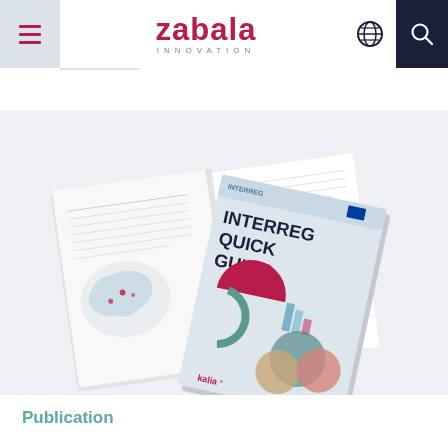zabala INNOVATION
[Figure (photo): Book mockup showing an open publication with a map of Europe and the cover of the 'Interreg Quick Guide' publication by Zabala Innovation, displayed on a light gray background.]
Publication